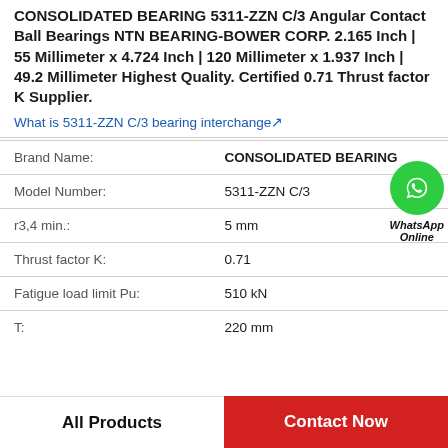CONSOLIDATED BEARING 5311-ZZN C/3 Angular Contact Ball Bearings NTN BEARING-BOWER CORP. 2.165 Inch | 55 Millimeter x 4.724 Inch | 120 Millimeter x 1.937 Inch | 49.2 Millimeter Highest Quality. Certified 0.71 Thrust factor K Supplier.
What is 5311-ZZN C/3 bearing interchange↗
| Property | Value |
| --- | --- |
| Brand Name: | CONSOLIDATED BEARING |
| Model Number: | 5311-ZZN C/3 |
| r3,4 min.: | 5 mm |
| Thrust factor K: | 0.71 |
| Fatigue load limit Pu: | 510 kN |
| T: | 220 mm |
[Figure (logo): WhatsApp Online contact icon — green circle with phone handset, labeled WhatsApp Online]
All Products   Contact Now